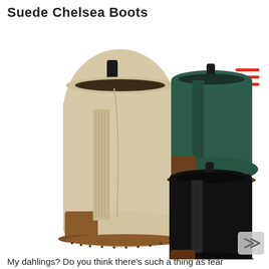Suede Chelsea Boots
[Figure (photo): Large beige/tan suede Chelsea boot on the left, with a ribbed elastic side panel and brown block heel. Two smaller boots on the right: a teal/dark green suede Chelsea boot on top, and a black suede Chelsea boot below. A hamburger menu icon (three red horizontal lines) appears in the upper right corner. A right-arrow navigation chevron appears in the lower right corner.]
My dahlings? Do you think there's such a thing as fear